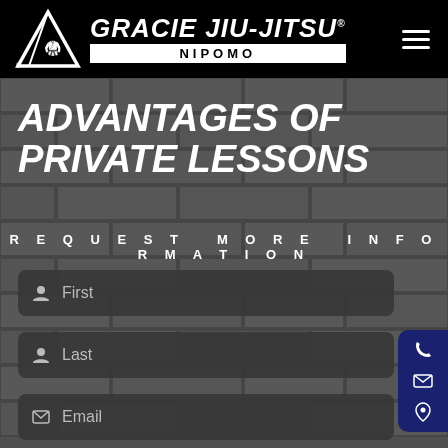[Figure (logo): Gracie Jiu-Jitsu Nipomo logo with triangle/figure icon on black header bar with hamburger menu]
ADVANTAGES OF PRIVATE LESSONS
REQUEST MORE INFORMATION
First
Last
Email